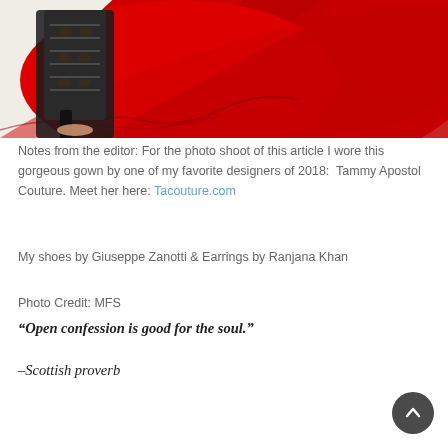[Figure (photo): Bottom portion of a fashion photo shoot showing a woman wearing a red chiffon gown with black lace-up heeled sandals, photographed against a white background.]
Notes from the editor: For the photo shoot of this article I wore this gorgeous gown by one of my favorite designers of 2018:  Tammy Apostol Couture. Meet her here: Tacouture.com
My shoes by Giuseppe Zanotti & Earrings by Ranjana Khan
Photo Credit: MFS
“Open confession is good for the soul.”
–Scottish proverb